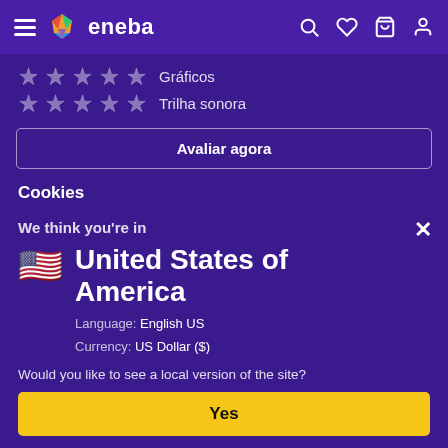eneba
Gráficos (stars)
Trilha sonora (stars)
Avaliar agora
Cookies
We think you're in
United States of America
Language: English US
Currency: US Dollar ($)
Would you like to see a local version of the site?
Yes